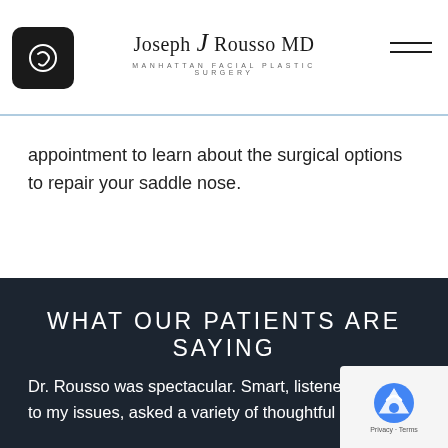Joseph J Rousso MD - Manhattan Facial Plastic Surgery
appointment to learn about the surgical options to repair your saddle nose.
WHAT OUR PATIENTS ARE SAYING
Dr. Rousso was spectacular. Smart, listened to my issues, asked a variety of thoughtful